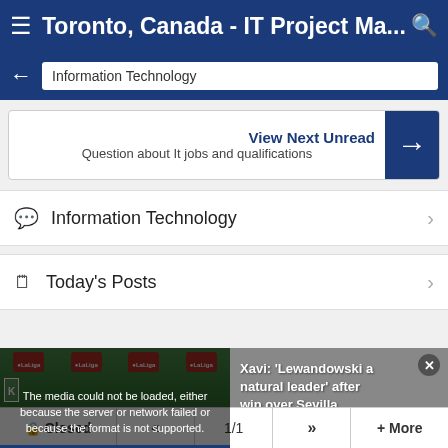Toronto, Canada - IT Project Ma...
Information Technology
View Next Unread
Question about It jobs and qualifications
Information Technology
Today's Posts
[Figure (screenshot): A video player showing a soccer/football match with a media error overlay: 'The media could not be loaded, either because the server or network failed or because the format is not supported.' Adjacent panel shows text: 'Xavi: Lewandowski a natural leader after win over Sevilla']
Closed  <<  1/1  >>  + More